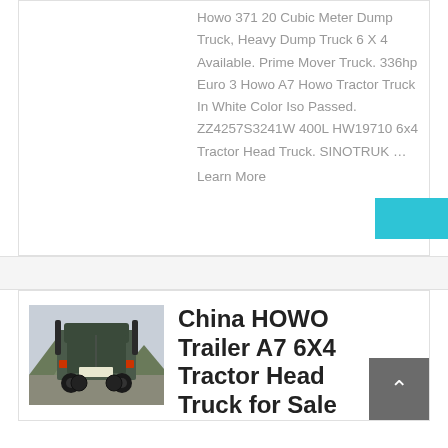Howo 371 20 Cubic Meter Dump Truck, Heavy Dump Truck 6 X 4 Available. Prime Mover Truck. 336hp Euro 3 Howo A7 Howo Tractor Truck In White Color Iso Passed. ZZ4257S3241W 400L HW19710 6x4 Tractor Head Truck. SINOTRUK …
Learn More
learn More
[Figure (photo): Rear view of a HOWO tractor truck (6x4 configuration) parked outdoors with mountains in the background]
China HOWO Trailer A7 6X4 Tractor Head Truck for Sale